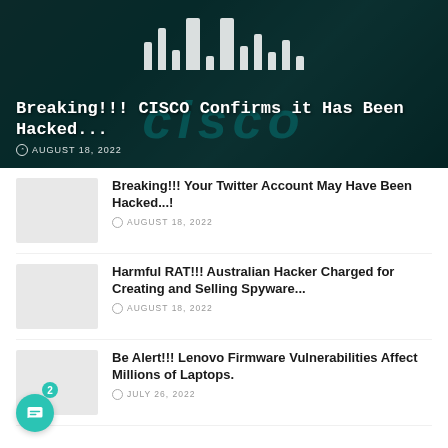[Figure (photo): Dark teal-toned data center server room with Cisco logo overlay. Hero banner image with Cisco network equipment.]
Breaking!!! CISCO Confirms it Has Been Hacked...
AUGUST 18, 2022
[Figure (photo): Thumbnail image placeholder for Twitter hack article]
Breaking!!! Your Twitter Account May Have Been Hacked...!
AUGUST 18, 2022
[Figure (photo): Thumbnail image placeholder for Australian Hacker article]
Harmful RAT!!! Australian Hacker Charged for Creating and Selling Spyware...
AUGUST 18, 2022
[Figure (photo): Thumbnail image placeholder for Lenovo Firmware article]
Be Alert!!! Lenovo Firmware Vulnerabilities Affect Millions of Laptops.
JULY 26, 2022